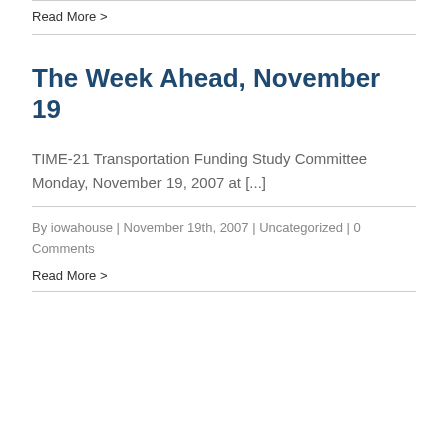Read More >
The Week Ahead, November 19
TIME-21 Transportation Funding Study Committee Monday, November 19, 2007 at [...]
By iowahouse | November 19th, 2007 | Uncategorized | 0 Comments
Read More >